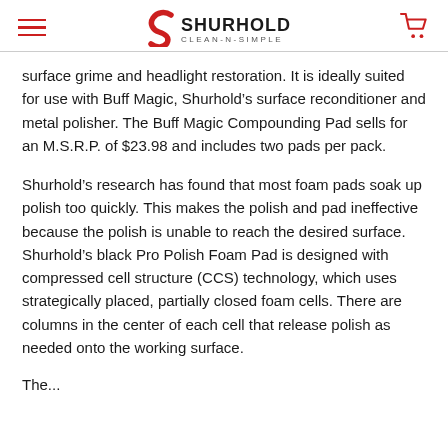SHURHOLD CLEAN-N-SIMPLE
surface grime and headlight restoration. It is ideally suited for use with Buff Magic, Shurhold’s surface reconditioner and metal polisher. The Buff Magic Compounding Pad sells for an M.S.R.P. of $23.98 and includes two pads per pack.
Shurhold’s research has found that most foam pads soak up polish too quickly. This makes the polish and pad ineffective because the polish is unable to reach the desired surface. Shurhold’s black Pro Polish Foam Pad is designed with compressed cell structure (CCS) technology, which uses strategically placed, partially closed foam cells. There are columns in the center of each cell that release polish as needed onto the working surface.
The...